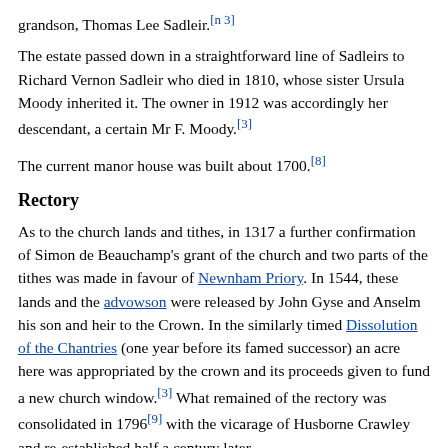grandson, Thomas Lee Sadleir.[n 3]
The estate passed down in a straightforward line of Sadleirs to Richard Vernon Sadleir who died in 1810, whose sister Ursula Moody inherited it. The owner in 1912 was accordingly her descendant, a certain Mr F. Moody.[3]
The current manor house was built about 1700.[8]
Rectory
As to the church lands and tithes, in 1317 a further confirmation of Simon de Beauchamp's grant of the church and two parts of the tithes was made in favour of Newnham Priory. In 1544, these lands and the advowson were released by John Gyse and Anselm his son and heir to the Crown. In the similarly timed Dissolution of the Chantries (one year before its famed successor) an acre here was appropriated by the crown and its proceeds given to fund a new church window.[3] What remained of the rectory was consolidated in 1796[9] with the vicarage of Husborne Crawley and re-established half a century later.
The Church Charities